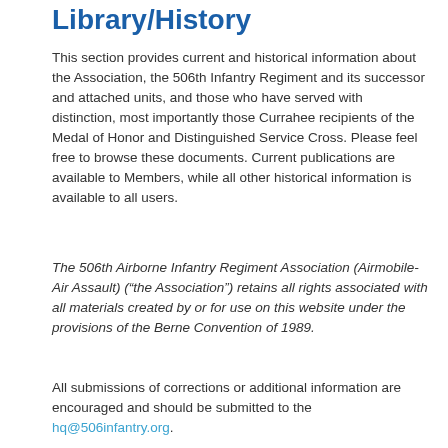Library/History
This section provides current and historical information about the Association, the 506th Infantry Regiment and its successor and attached units, and those who have served with distinction, most importantly those Currahee recipients of the Medal of Honor and Distinguished Service Cross. Please feel free to browse these documents. Current publications are available to Members, while all other historical information is available to all users.
The 506th Airborne Infantry Regiment Association (Airmobile-Air Assault) (“the Association”) retains all rights associated with all materials created by or for use on this website under the provisions of the Berne Convention of 1989.
All submissions of corrections or additional information are encouraged and should be submitted to the hq@506infantry.org.